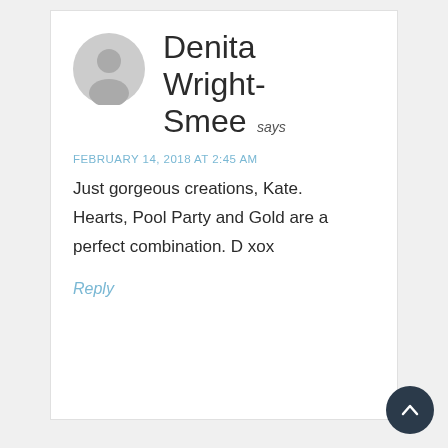[Figure (illustration): Gray circular user avatar icon with silhouette of a person]
Denita Wright-Smee says
FEBRUARY 14, 2018 AT 2:45 AM
Just gorgeous creations, Kate. Hearts, Pool Party and Gold are a perfect combination. D xox
Reply